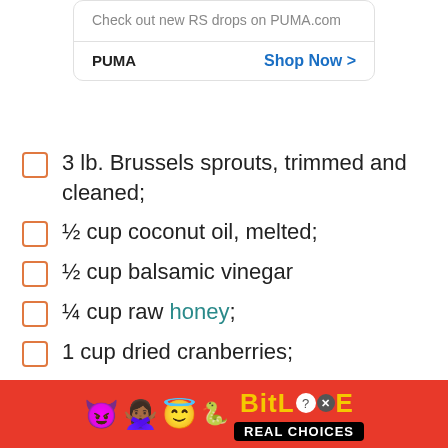[Figure (screenshot): PUMA advertisement card with text 'Check out new RS drops on PUMA.com' and a 'Shop Now >' call-to-action button]
3 lb. Brussels sprouts, trimmed and cleaned;
½ cup coconut oil, melted;
½ cup balsamic vinegar
¼ cup raw honey;
1 cup dried cranberries;
Sea salt and freshly ground black pepper;
[Figure (screenshot): BitLife 'Real Choices' advertisement banner with emoji characters on red background]